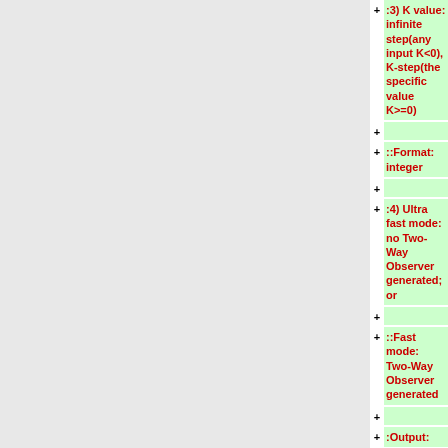:3)   K value: infinite step(any input K<0), K-step(the specific value K>=0)
::Format: integer
:4)   Ultra fast mode: no Two-Way Observer generated; or
::Fast mode: Two-Way Observer generated
:Output:
:1)   "This fsm obeys infinite/K step opacity"